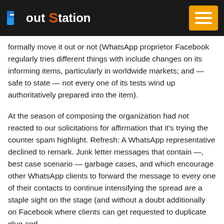Pout Station
formally move it out or not (WhatsApp proprietor Facebook regularly tries different things with include changes on its informing items, particularly in worldwide markets; and — safe to state — not every one of its tests wind up authoritatively prepared into the item).
At the season of composing the organization had not reacted to our solicitations for affirmation that it's trying the counter spam highlight. Refresh: A WhatsApp representative declined to remark. Junk letter messages that contain —, best case scenario — garbage cases, and which encourage other WhatsApp clients to forward the message to every one of their contacts to continue intensifying the spread are a staple sight on the stage (and without a doubt additionally on Facebook where clients can get requested to duplicate glue and